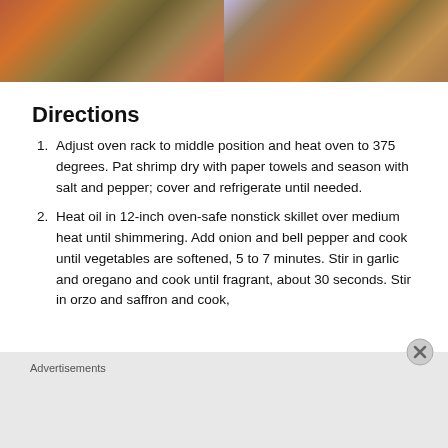[Figure (photo): Two food photos side by side showing a shrimp and rice dish (paella-style) in a skillet on the left, and a plated version on the right]
Directions
Adjust oven rack to middle position and heat oven to 375 degrees. Pat shrimp dry with paper towels and season with salt and pepper; cover and refrigerate until needed.
Heat oil in 12-inch oven-safe nonstick skillet over medium heat until shimmering. Add onion and bell pepper and cook until vegetables are softened, 5 to 7 minutes. Stir in garlic and oregano and cook until fragrant, about 30 seconds. Stir in orzo and saffron and cook,
Advertisements